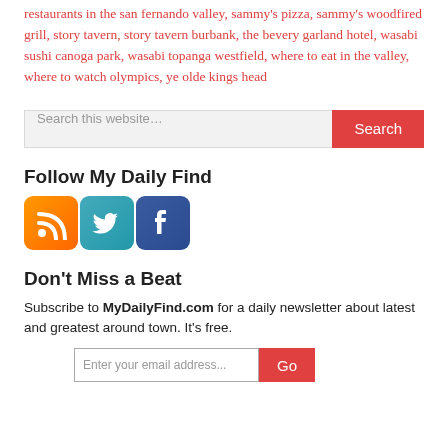restaurants in the san fernando valley, sammy's pizza, sammy's woodfired grill, story tavern, story tavern burbank, the bevery garland hotel, wasabi sushi canoga park, wasabi topanga westfield, where to eat in the valley, where to watch olympics, ye olde kings head
Search this website…
Follow My Daily Find
[Figure (other): Social media icons: RSS (orange), Twitter (blue bird), Facebook (blue f)]
Don't Miss a Beat
Subscribe to MyDailyFind.com for a daily newsletter about latest and greatest around town. It's free.
Enter your email address...